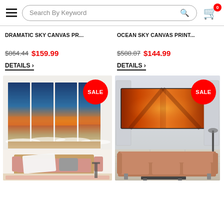Search By Keyword
DRAMATIC SKY CANVAS PR...
$864.44  $159.99
DETAILS >
OCEAN SKY CANVAS PRINT...
$588.87  $144.99
DETAILS >
[Figure (photo): Beach sunset canvas print displayed on wall above pink sofa with throw blanket, SALE badge]
[Figure (photo): Orange/dramatic sky canvas print displayed on wall above rust-colored sofa in modern room, SALE badge]